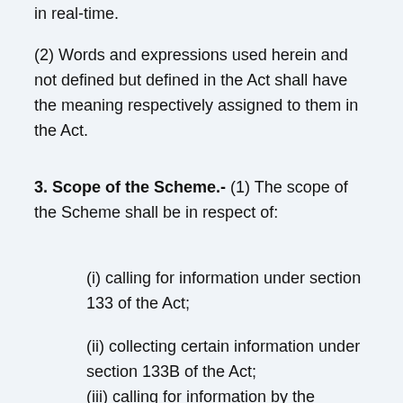in real-time.
(2) Words and expressions used herein and not defined but defined in the Act shall have the meaning respectively assigned to them in the Act.
3. Scope of the Scheme.- (1) The scope of the Scheme shall be in respect of:
(i) calling for information under section 133 of the Act;
(ii) collecting certain information under section 133B of the Act;
(iii) calling for information by the prescribed